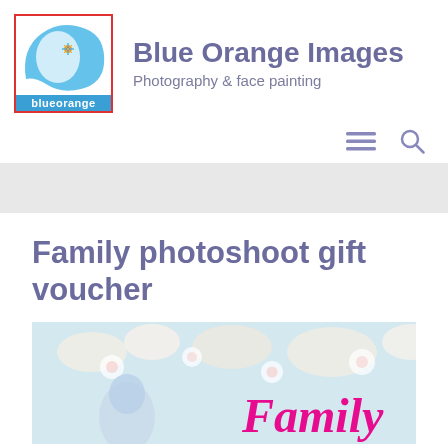[Figure (logo): Blue Orange Images logo: circular blue wave design with a small colorful star/flower, red border box, 'blueorange' text on blue bar at bottom]
Blue Orange Images
Photography & face painting
[Figure (other): Hamburger menu icon and search (magnifying glass) icon in muted purple/gray]
Family photoshoot gift voucher
[Figure (photo): Photo showing blossoming flowers with a person visible, and pink cursive 'Family' text overlay]